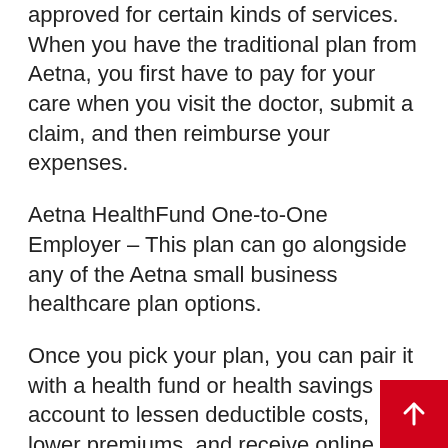approved for certain kinds of services. When you have the traditional plan from Aetna, you first have to pay for your care when you visit the doctor, submit a claim, and then reimburse your expenses.
Aetna HealthFund One-to-One Employer – This plan can go alongside any of the Aetna small business healthcare plan options.
Once you pick your plan, you can pair it with a health fund or health savings account to lessen deductible costs, lower premiums, and receive online tools and free preventative care services. The HRA and HSA plans are tax-free for employees and tax-deductible for employers.